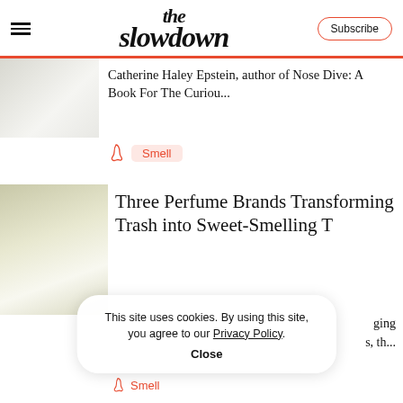the slowdown | Subscribe
Catherine Haley Epstein, author of Nose Dive: A Book For The Curiou...
Smell
Three Perfume Brands Transforming Trash into Sweet-Smelling T...
This site uses cookies. By using this site, you agree to our Privacy Policy. Close
ging s, th...
Smell